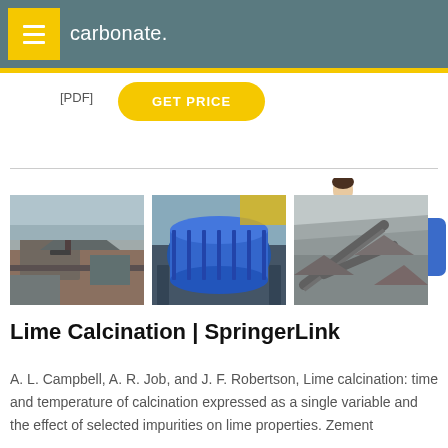carbonate.
[PDF] GET PRICE
[Figure (photo): Three industrial/mining site photographs side by side: left shows an open-pit mining site with machinery, center shows a large rotating industrial drum/kiln in blue, right shows an aerial view of a mining or quarry site with conveyors.]
Lime Calcination | SpringerLink
A. L. Campbell, A. R. Job, and J. F. Robertson, Lime calcination: time and temperature of calcination expressed as a single variable and the effect of selected impurities on lime properties. Zement